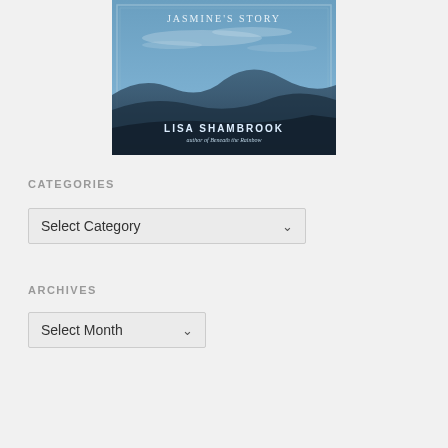[Figure (illustration): Book cover image showing a blue desert landscape scene with sandy dunes and a light sky. Text reads 'JASMINE'S STORY' at the top and 'LISA SHAMBROOK author of Beneath the Rainbow' at the bottom.]
CATEGORIES
Select Category
ARCHIVES
Select Month